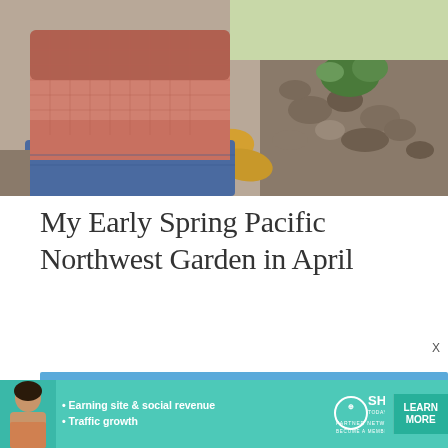[Figure (photo): Close-up photo of a gloved hand (pink/white garden glove) with yellow leaves and green succulent plants on rocky soil in the background]
My Early Spring Pacific Northwest Garden in April
[Figure (photo): Outdoor garden photo showing string lights strung across wires over a garden area with a white pergola on the right, blue bay water and evergreen trees visible in the background under a bright blue sky]
[Figure (photo): Advertisement banner for SHE Partner Network showing a woman, bullet points 'Earning site & social revenue' and 'Traffic growth', SHE logo, and a 'LEARN MORE' button, with 'BECOME A MEMBER' text]